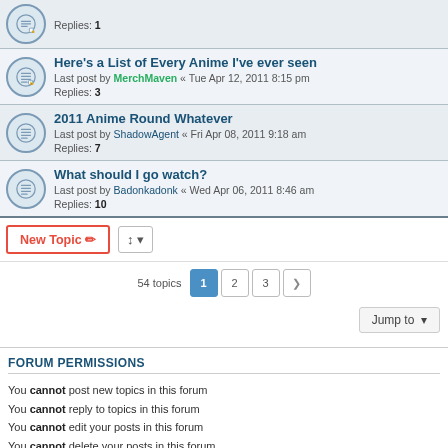Replies: 1
Here's a List of Every Anime I've ever seen — Last post by MerchMaven « Tue Apr 12, 2011 8:15 pm — Replies: 3
2011 Anime Round Whatever — Last post by ShadowAgent « Fri Apr 08, 2011 9:18 am — Replies: 7
What should I go watch? — Last post by Badonkadonk « Wed Apr 06, 2011 8:46 am — Replies: 10
New Topic  [sort button]  54 topics  1  2  3  >
Jump to
FORUM PERMISSIONS
You cannot post new topics in this forum
You cannot reply to topics in this forum
You cannot edit your posts in this forum
You cannot delete your posts in this forum
You cannot post attachments in this forum
Anime Boston Home « Anime Boston Forums  All times are UTC-04:00
Powered by phpBB® Forum Software © phpBB Limited